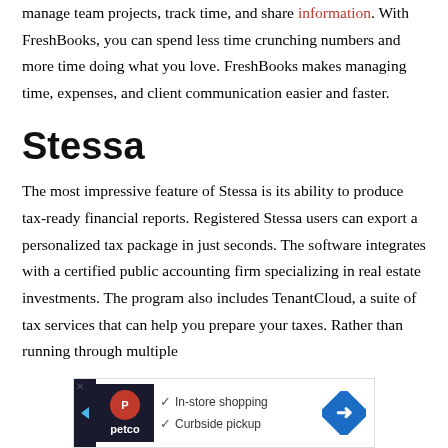manage team projects, track time, and share information. With FreshBooks, you can spend less time crunching numbers and more time doing what you love. FreshBooks makes managing time, expenses, and client communication easier and faster.
Stessa
The most impressive feature of Stessa is its ability to produce tax-ready financial reports. Registered Stessa users can export a personalized tax package in just seconds. The software integrates with a certified public accounting firm specializing in real estate investments. The program also includes TenantCloud, a suite of tax services that can help you prepare your taxes. Rather than running through multiple
[Figure (other): Petco advertisement banner showing logo, checkmarks for In-store shopping and Curbside pickup, and a blue arrow road sign icon]